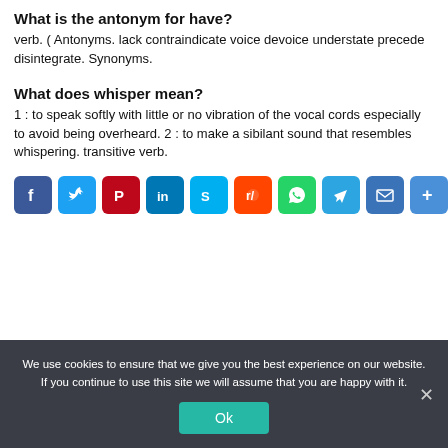What is the antonym for have?
verb. ( Antonyms. lack contraindicate voice devoice understate precede disintegrate. Synonyms.
What does whisper mean?
1 : to speak softly with little or no vibration of the vocal cords especially to avoid being overheard. 2 : to make a sibilant sound that resembles whispering. transitive verb.
[Figure (infographic): Row of social media share buttons: Facebook, Twitter, Pinterest, LinkedIn, Skype, Reddit, WhatsApp, Telegram, Email, Share]
We use cookies to ensure that we give you the best experience on our website. If you continue to use this site we will assume that you are happy with it.